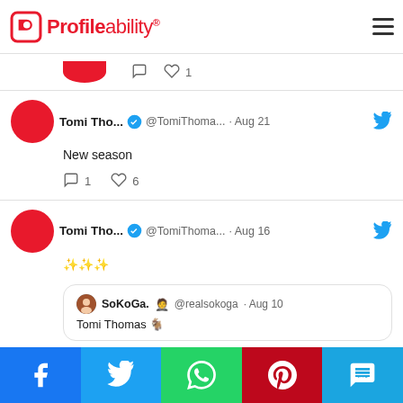Profileability
[Figure (screenshot): Partial tweet row with comment and like icons, 1 like]
[Figure (screenshot): Tweet by Tomi Tho... @TomiThoma... · Aug 21 with bird icon. Content: New season. Actions: 1 reply, 6 likes]
[Figure (screenshot): Tweet by Tomi Tho... @TomiThoma... · Aug 16 with bird icon. Content: ✨✨✨. Quoted tweet: SoKoGa. @realsokoga · Aug 10 - Tomi Thomas 🐐. Actions: 0 replies, 3 likes]
Facebook | Twitter | WhatsApp | Pinterest | SMS